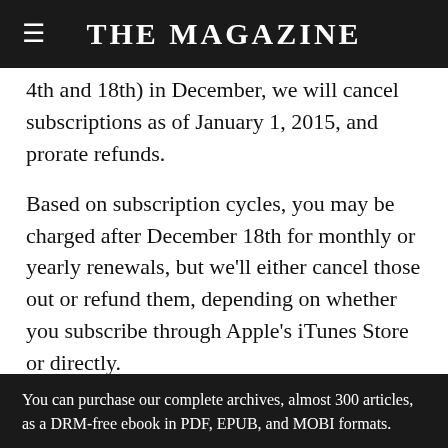THE MAGAZINE
4th and 18th) in December, we will cancel subscriptions as of January 1, 2015, and prorate refunds.
Based on subscription cycles, you may be charged after December 18th for monthly or yearly renewals, but we'll either cancel those out or refund them, depending on whether you subscribe through Apple's iTunes Store or directly.
Those of you who very nicely purchased subscriptions through last year's Kickstarter
You can purchase our complete archives, almost 300 articles, as a DRM-free ebook in PDF, EPUB, and MOBI formats.